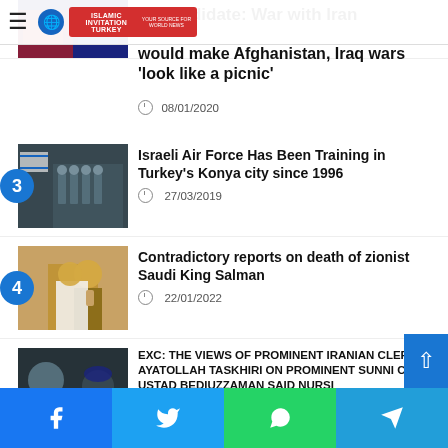Islamic Invitation Turkey
Republican Candidate: War with Iran would make Afghanistan, Iraq wars 'look like a picnic' — 08/01/2020
3 — Israeli Air Force Has Been Training in Turkey's Konya city since 1996 — 27/03/2019
4 — Contradictory reports on death of zionist Saudi King Salman — 22/01/2022
5 — EXC: THE VIEWS OF PROMINENT IRANIAN CLERIC AYATOLLAH TASKHIRI ON PROMINENT SUNNI CLERIC USTAD BEDIUZZAMAN SAID NURSI — 11/04/2019